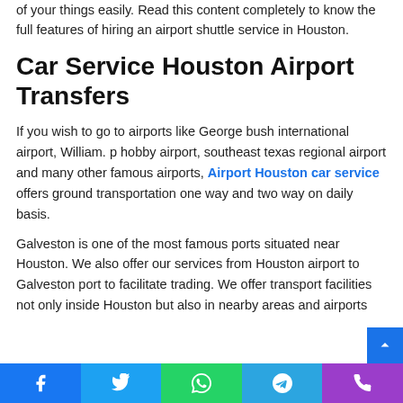of your things easily. Read this content completely to know the full features of hiring an airport shuttle service in Houston.
Car Service Houston Airport Transfers
If you wish to go to airports like George bush international airport, William. p hobby airport, southeast texas regional airport and many other famous airports, Airport Houston car service offers ground transportation one way and two way on daily basis.
Galveston is one of the most famous ports situated near Houston. We also offer our services from Houston airport to Galveston port to facilitate trading. We offer transport facilities not only inside Houston but also in nearby areas and airports